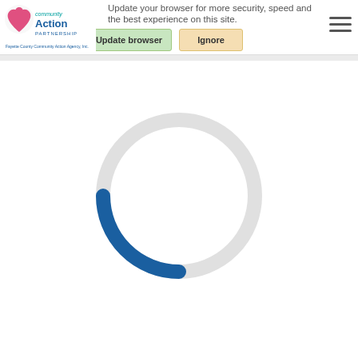Update your browser for more security, speed and the best experience on this site. Update browser | Ignore
[Figure (logo): Community Action Partnership logo - Fayette County Community Action Agency, Inc.]
[Figure (illustration): Loading spinner - circular progress indicator, mostly light gray with a dark blue arc segment in the lower-left portion]